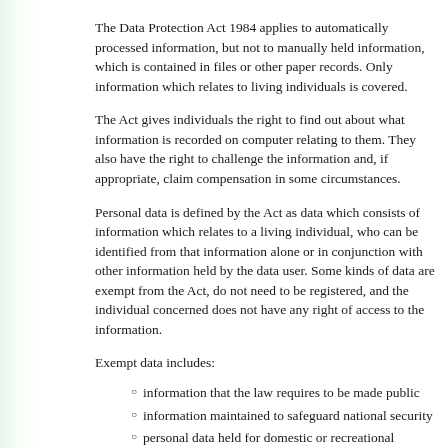The Data Protection Act 1984 applies to automatically processed information, but not to manually held information, which is contained in files or other paper records. Only information which relates to living individuals is covered.
The Act gives individuals the right to find out about what information is recorded on computer relating to them. They also have the right to challenge the information and, if appropriate, claim compensation in some circumstances.
Personal data is defined by the Act as data which consists of information which relates to a living individual, who can be identified from that information alone or in conjunction with other information held by the data user. Some kinds of data are exempt from the Act, do not need to be registered, and the individual concerned does not have any right of access to the information.
Exempt data includes:
information that the law requires to be made public
information maintained to safeguard national security
personal data held for domestic or recreational purposes
information held for payroll, pensions, and accounts